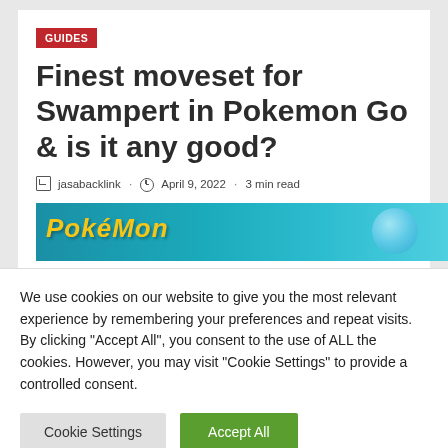GUIDES
Finest moveset for Swampert in Pokemon Go & is it any good?
jasabacklink · April 9, 2022 · 3 min read
[Figure (illustration): Pokemon Go banner with yellow stylized text and a blue bubble on a teal gradient background]
We use cookies on our website to give you the most relevant experience by remembering your preferences and repeat visits. By clicking "Accept All", you consent to the use of ALL the cookies. However, you may visit "Cookie Settings" to provide a controlled consent.
Cookie Settings    Accept All